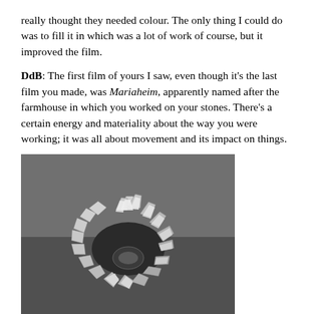really thought they needed colour. The only thing I could do was to fill it in which was a lot of work of course, but it improved the film.
DdB: The first film of yours I saw, even though it's the last film you made, was Mariaheim, apparently named after the farmhouse in which you worked on your stones. There's a certain energy and materiality about the way you were working; it was all about movement and its impact on things.
[Figure (photo): Black and white photograph of a circular arrangement of large flat stones leaning inward, forming a ring-like sculpture on grass.]
EL: Emotionally, I cannot think and talk about it that much. I